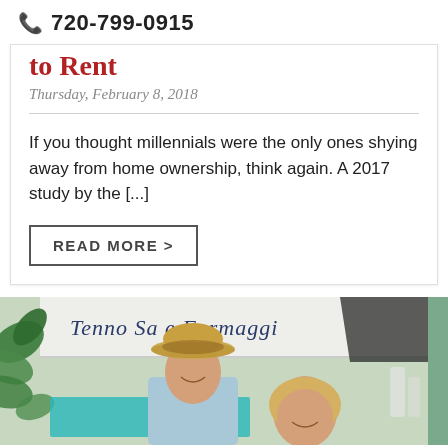720-799-0915
to Rent
Thursday, February 8, 2018
If you thought millennials were the only ones shying away from home ownership, think again. A 2017 study by the [...]
READ MORE >
[Figure (photo): Two people smiling at an outdoor market with a sign reading 'Tenno Sale Formaggi', green plants visible, man wearing a straw hat]